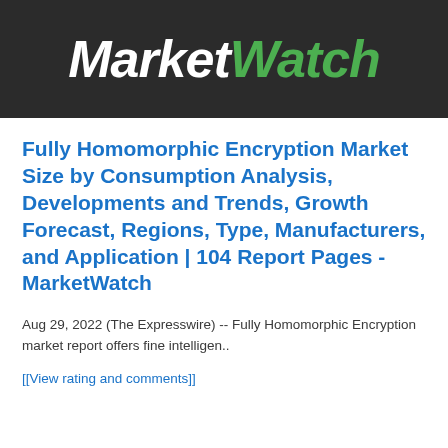[Figure (logo): MarketWatch logo on dark background, 'Market' in white bold italic and 'Watch' in green bold italic]
Fully Homomorphic Encryption Market Size by Consumption Analysis, Developments and Trends, Growth Forecast, Regions, Type, Manufacturers, and Application | 104 Report Pages - MarketWatch
Aug 29, 2022 (The Expresswire) -- Fully Homomorphic Encryption market report offers fine intelligen..
[[View rating and comments]]